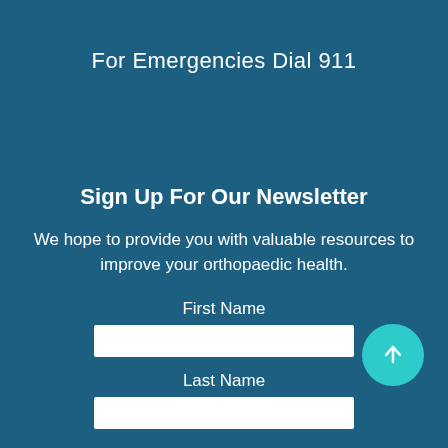For Emergencies Dial 911
Sign Up For Our Newsletter
We hope to provide you with valuable resources to improve your orthopaedic health.
First Name
Last Name